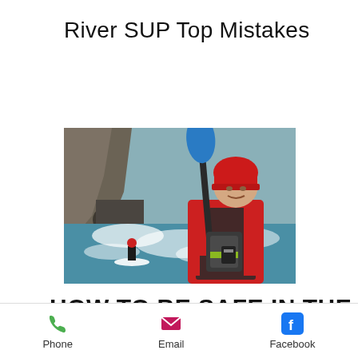River SUP Top Mistakes
[Figure (photo): A man in a red helmet and red dry suit holding a blue SUP paddle in whitewater rapids, with another person on a stand-up paddleboard visible in the background near rocky canyon walls.]
HOW TO BE SAFE IN THE
Phone  Email  Facebook